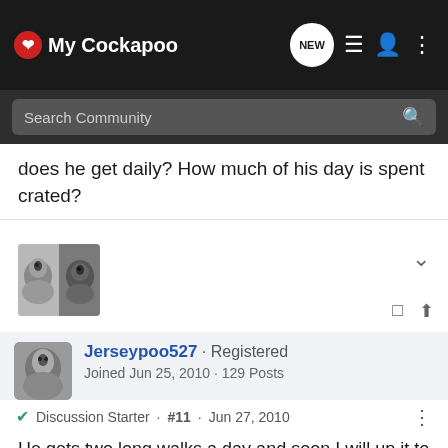I ❤ My Cockapoo
Search Community
does he get daily? How much of his day is spent crated?
[Figure (photo): User avatar showing two cockapoo dogs side by side]
Jerseypoo527 · Registered
Joined Jun 25, 2010 · 129 Posts
Discussion Starter · #11 · Jun 27, 2010
He gets two long walks a day and soon I will up it to three once I have his hair cut (it's too hot during the day for his long coat)